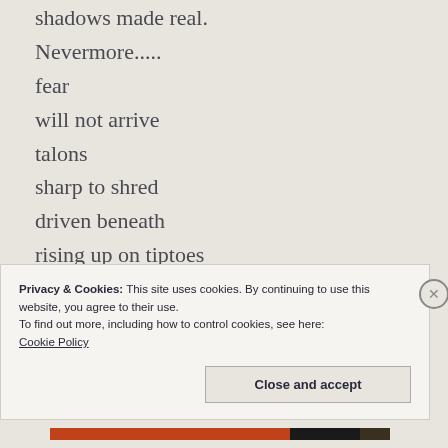shadows made real.
Nevermore.....
fear
will not arrive
talons
sharp to shred
driven beneath
rising up on tiptoes
aorta pierced
bleed out
she will survive.
Privacy & Cookies: This site uses cookies. By continuing to use this website, you agree to their use.
To find out more, including how to control cookies, see here:
Cookie Policy
Close and accept